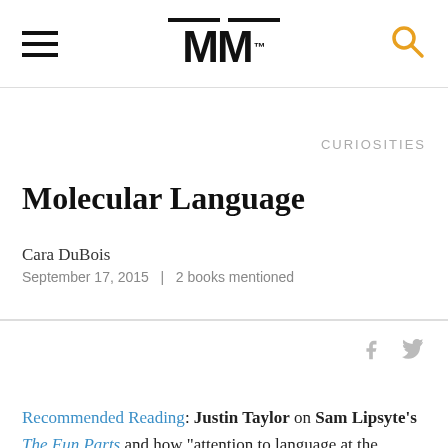MM
CURIOSITIES
Molecular Language
Cara DuBois
September 17, 2015  |  2 books mentioned
Recommended Reading: Justin Taylor on Sam Lipsyte's The Fun Parts and how “attention to language at the molecular level” creates a better experience reading and writing. Pair with